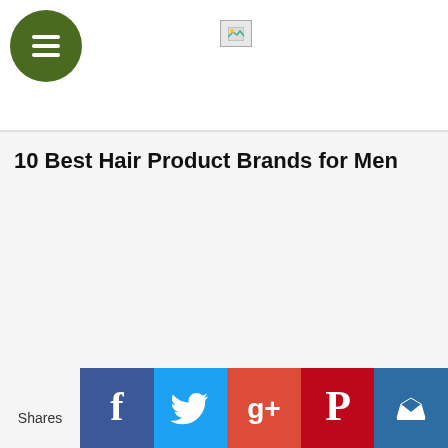[Figure (logo): Green circular menu button with three horizontal white lines (hamburger icon)]
[Figure (photo): Small broken/placeholder image icon in the header]
10 Best Hair Product Brands for Men
Shares
[Figure (infographic): Social share bar with Facebook, Twitter, Google+, Pinterest, and another social network icons]